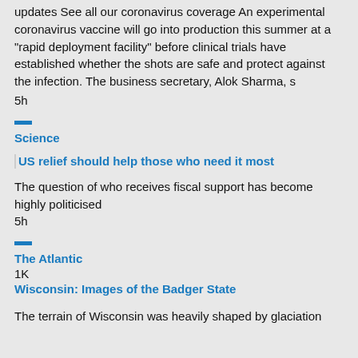updates See all our coronavirus coverage An experimental coronavirus vaccine will go into production this summer at a "rapid deployment facility" before clinical trials have established whether the shots are safe and protect against the infection. The business secretary, Alok Sharma, s
5h
Science
US relief should help those who need it most
The question of who receives fiscal support has become highly politicised
5h
The Atlantic
1K
Wisconsin: Images of the Badger State
The terrain of Wisconsin was heavily shaped by glaciation